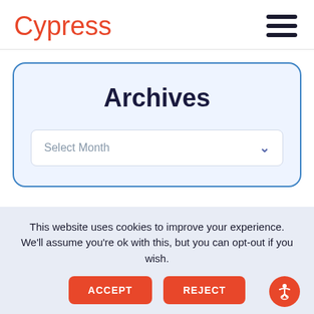Cypress
Archives
Select Month
This website uses cookies to improve your experience. We'll assume you're ok with this, but you can opt-out if you wish.
ACCEPT
REJECT